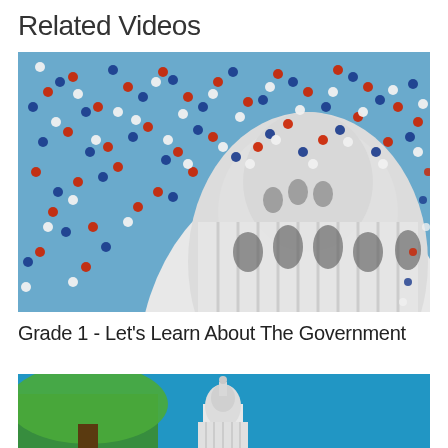Related Videos
[Figure (photo): US Capitol dome with red, white, and blue balloons filling the sky around it]
Grade 1 - Let's Learn About The Government
[Figure (photo): US Capitol building with a green tree in the foreground against a blue sky, partially visible]